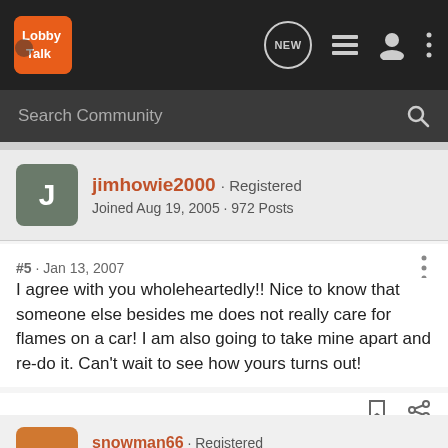[Figure (logo): LobbyTalk forum logo with navigation bar icons including NEW badge, list icon, user icon, and more options dots]
Search Community
jimhowie2000 · Registered
Joined Aug 19, 2005 · 972 Posts
#5 · Jan 13, 2007
I agree with you wholeheartedly!! Nice to know that someone else besides me does not really care for flames on a car! I am also going to take mine apart and re-do it. Can't wait to see how yours turns out!
snowman66 · Registered